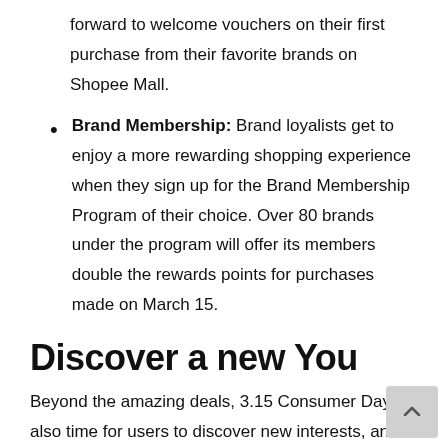forward to welcome vouchers on their first purchase from their favorite brands on Shopee Mall.
Brand Membership: Brand loyalists get to enjoy a more rewarding shopping experience when they sign up for the Brand Membership Program of their choice. Over 80 brands under the program will offer its members double the rewards points for purchases made on March 15.
Discover a new You
Beyond the amazing deals, 3.15 Consumer Day is also time for users to discover new interests, and support what matters to them. From today till March 15, users can new ways to do their part for local businesses, and